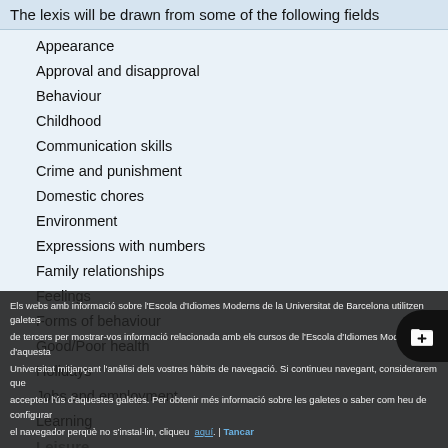The lexis will be drawn from some of the following fields
Appearance
Approval and disapproval
Behaviour
Childhood
Communication skills
Crime and punishment
Domestic chores
Environment
Expressions with numbers
Family relationships
Feelings
Forms of behaviour
Good/Poor health
Holidays
Jobs and employment
Learning
Leisure
Means of communication
Personal reactions
Personal relationships
Personality
Els webs amb informació sobre l'Escola d'Idiomes Moderns de la Universitat de Barcelona utilitzen galetes de tercers per mostrar-vos informació relacionada amb els cursos de l'Escola d'Idiomes Moderns d'aquesta Universitat mitjançant l'anàlisi dels vostres hàbits de navegació. Si continueu navegant, considerarem que accepteu l'ús d'aquestes galetes. Per obtenir més informació sobre les galetes o saber com heu de configurar el navegador perquè no s'instal·lin, cliqueu aquí. | Tancar